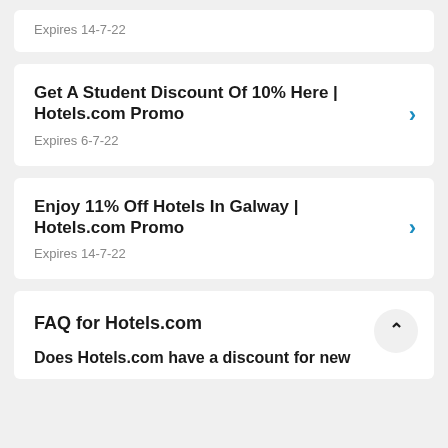Expires 14-7-22
Get A Student Discount Of 10% Here | Hotels.com Promo
Expires 6-7-22
Enjoy 11% Off Hotels In Galway | Hotels.com Promo
Expires 14-7-22
FAQ for Hotels.com
Does Hotels.com have a discount for new